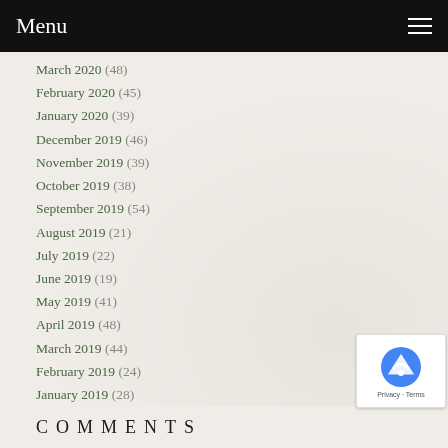Menu
March 2020 (48)
February 2020 (45)
January 2020 (39)
December 2019 (46)
November 2019 (39)
October 2019 (38)
September 2019 (54)
August 2019 (21)
July 2019 (22)
June 2019 (19)
May 2019 (41)
April 2019 (48)
March 2019 (44)
February 2019 (24)
January 2019 (28)
December 2018 (6)
COMMENTS